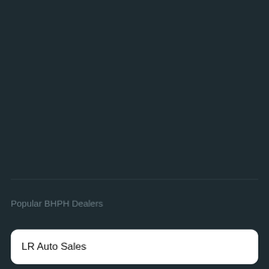Popular BHPH Dealers
LR Auto Sales